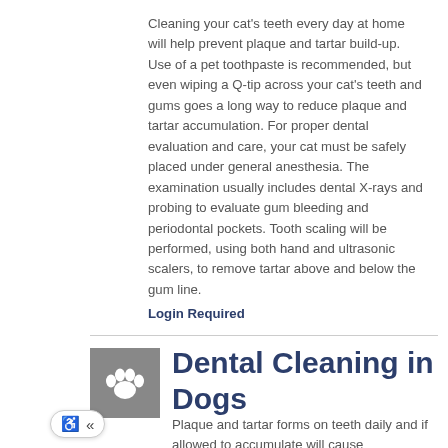Cleaning your cat's teeth every day at home will help prevent plaque and tartar build-up. Use of a pet toothpaste is recommended, but even wiping a Q-tip across your cat's teeth and gums goes a long way to reduce plaque and tartar accumulation. For proper dental evaluation and care, your cat must be safely placed under general anesthesia. The examination usually includes dental X-rays and probing to evaluate gum bleeding and periodontal pockets. Tooth scaling will be performed, using both hand and ultrasonic scalers, to remove tartar above and below the gum line.
Login Required
[Figure (illustration): Gray square icon with a white paw print]
Dental Cleaning in Dogs
Plaque and tartar forms on teeth daily and if allowed to accumulate will cause